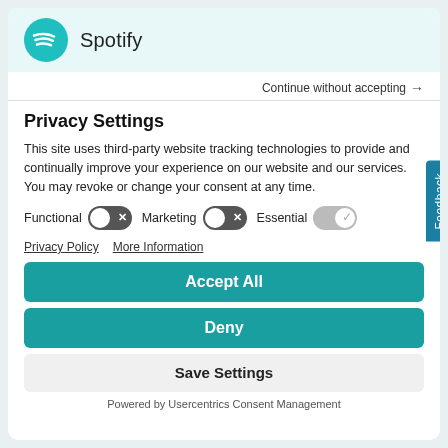[Figure (logo): Spotify logo: teal circle with white sound wave lines]
Spotify
Continue without accepting →
Privacy Settings
This site uses third-party website tracking technologies to provide and continually improve your experience on our website and our services. You may revoke or change your consent at any time.
Functional [toggle off]   Marketing [toggle off]   Essential [toggle on]
Privacy Policy   More Information
Accept All
Deny
Save Settings
Powered by Usercentrics Consent Management